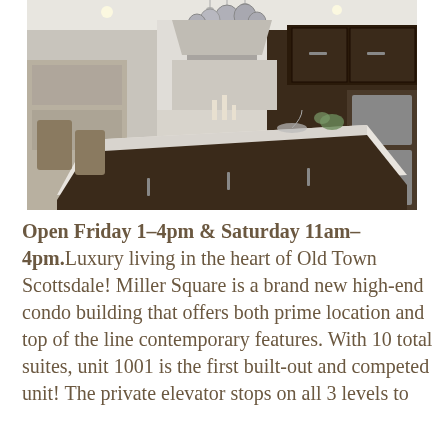[Figure (photo): Interior photo of a luxury kitchen with dark wood cabinetry, white marble island countertop, modern pendant globe lights, stainless steel appliances and range hood, and contemporary finishes.]
Open Friday 1-4pm & Saturday 11am-4pm. Luxury living in the heart of Old Town Scottsdale! Miller Square is a brand new high-end condo building that offers both prime location and top of the line contemporary features. With 10 total suites, unit 1001 is the first built-out and competed unit! The private elevator stops on all 3 levels to